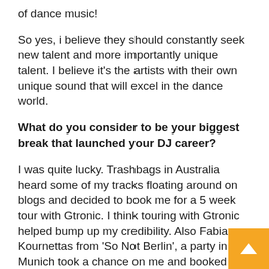of dance music!
So yes, i believe they should constantly seek new talent and more importantly unique talent. I believe it's the artists with their own unique sound that will excel in the dance world.
What do you consider to be your biggest break that launched your DJ career?
I was quite lucky. Trashbags in Australia heard some of my tracks floating around on blogs and decided to book me for a 5 week tour with Gtronic. I think touring with Gtronic helped bump up my credibility. Also Fabian Kournettas from 'So Not Berlin', a party in Munich took a chance on me and booked my first European show. Because of that one show that was booked, my manager was able to book a whole tour around that and that's when my career really kicked off. Recently i'd say my EP 'The Wrong Kid Died' getting signed to Dim Mak